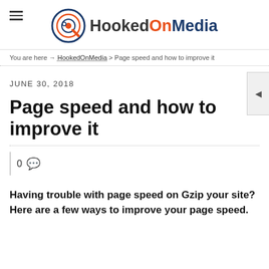HookedOnMedia
You are here → HookedOnMedia > Page speed and how to improve it
JUNE 30, 2018
Page speed and how to improve it
0 comments
Having trouble with page speed on Gzip your site? Here are a few ways to improve your page speed.